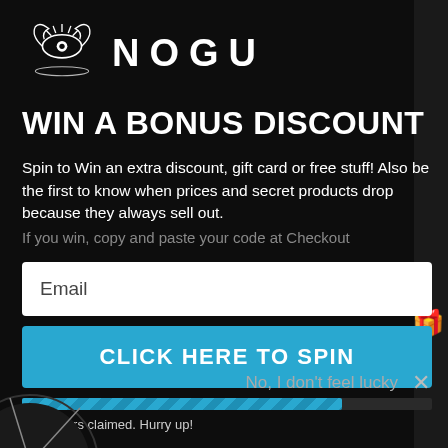[Figure (logo): NOGU brand logo with stylized eye/crown symbol and brand name in large spaced letters]
WIN A BONUS DISCOUNT
Spin to Win an extra discount, gift card or free stuff! Also be the first to know when prices and secret products drop because they always sell out.
If you win, copy and paste your code at Checkout
Email
CLICK HERE TO SPIN
78% offers claimed. Hurry up!
No, I don't feel lucky